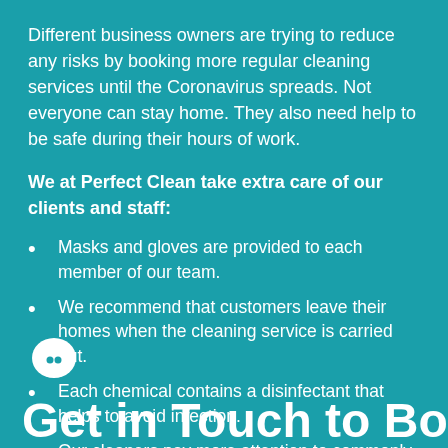Different business owners are trying to reduce any risks by booking more regular cleaning services until the Coronavirus spreads. Not everyone can stay home. They also need help to be safe during their hours of work.
We at Perfect Clean take extra care of our clients and staff:
Masks and gloves are provided to each member of our team.
We recommend that customers leave their homes when the cleaning service is carried out.
Each chemical contains a disinfectant that helps to avoid infection.
Our cleaners pay more attention to commonly touched surfaces such as doors, doorbells, desks, countertops, handles, etc.
[Figure (illustration): White chat bubble icon with a small face]
Get in Touch to Book a